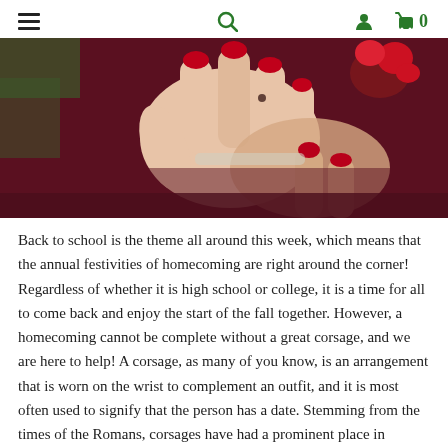☰  🔍  👤  🛒 0
[Figure (photo): Close-up photo of a woman's hands with red painted nails folded together, wearing a floral wrist corsage with red flowers against a dark burgundy dress.]
Back to school is the theme all around this week, which means that the annual festivities of homecoming are right around the corner!  Regardless of whether it is high school or college, it is a time for all to come back and enjoy the start of the fall together.  However, a homecoming cannot be complete without a great corsage, and we are here to help! A corsage, as many of you know, is an arrangement that is worn on the wrist to complement an outfit, and it is most often used to signify that the person has a date.  Stemming from the times of the Romans, corsages have had a prominent place in romantic culture, as they were originally worn during weddings to keep evil spirits away.  Now, they come in all sorts of